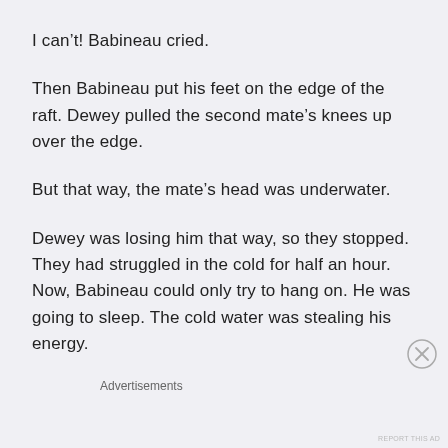I can't! Babineau cried.
Then Babineau put his feet on the edge of the raft. Dewey pulled the second mate's knees up over the edge.
But that way, the mate's head was underwater.
Dewey was losing him that way, so they stopped. They had struggled in the cold for half an hour. Now, Babineau could only try to hang on. He was going to sleep. The cold water was stealing his energy.
Advertisements